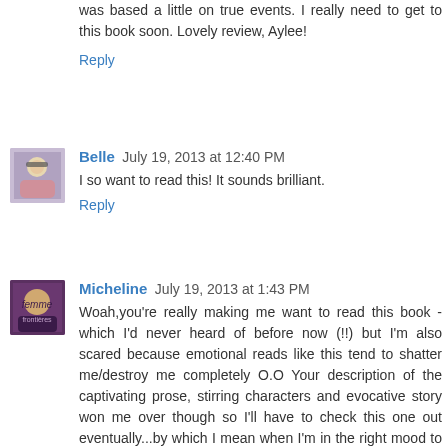was based a little on true events. I really need to get to this book soon. Lovely review, Aylee!
Reply
Belle  July 19, 2013 at 12:40 PM
I so want to read this! It sounds brilliant.
Reply
Micheline  July 19, 2013 at 1:43 PM
Woah,you're really making me want to read this book - which I'd never heard of before now (!!) but I'm also scared because emotional reads like this tend to shatter me/destroy me completely O.O Your description of the captivating prose, stirring characters and evocative story won me over though so I'll have to check this one out eventually...by which I mean when I'm in the right mood to have my heart torn out hehe. Thanks for another compelling review doll ♥